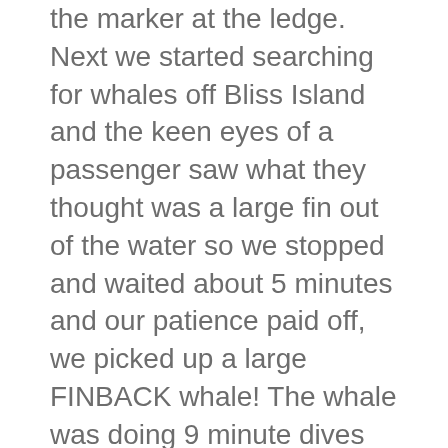the marker at the ledge. Next we started searching for whales off Bliss Island and the keen eyes of a passenger saw what they thought was a large fin out of the water so we stopped and waited about 5 minutes and our patience paid off, we picked up a large FINBACK whale! The whale was doing 9 minute dives but travelling in a consistent direction so we got some great looks at the largest species of whale in the Bay of Fundy. Then we made our way to Head Harbour Passage to check out the Light and we picked up a minke whale. The minke decided to take off and swim at such a high speed it was almost porpoising out of the water, amazing to see the speed of these whales! It was then time to make our way back to the harbour.